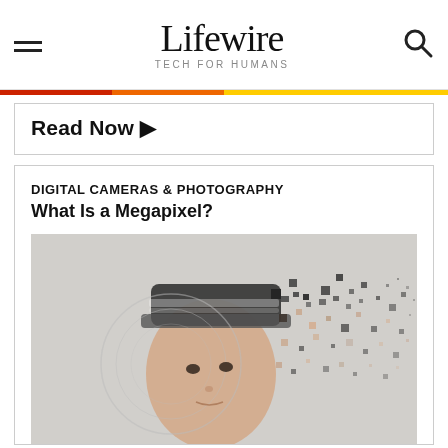Lifewire TECH FOR HUMANS
Read Now ▶
DIGITAL CAMERAS & PHOTOGRAPHY
What Is a Megapixel?
[Figure (photo): A boy wearing a striped cap, with a digital pixel dispersion effect on the right side of his face and hat, suggesting digital fragmentation. A circular tech HUD graphic overlays the left side.]